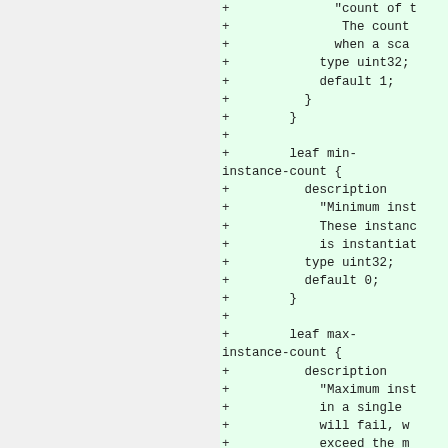[Figure (screenshot): Code diff view showing added lines (green background) with YANG data model definitions for min-instance-count and max-instance-count leaf nodes, including description, type uint32, and default values.]